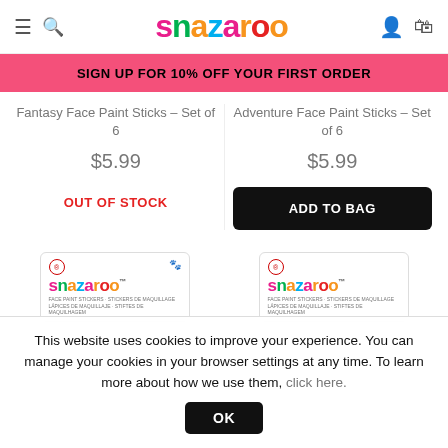snazaroo
SIGN UP FOR 10% OFF YOUR FIRST ORDER
Fantasy Face Paint Sticks – Set of 6
$5.99
OUT OF STOCK
Adventure Face Paint Sticks – Set of 6
$5.99
ADD TO BAG
[Figure (photo): Two Snazaroo face paint stick product boxes displayed side by side]
This website uses cookies to improve your experience. You can manage your cookies in your browser settings at any time. To learn more about how we use them, click here. OK